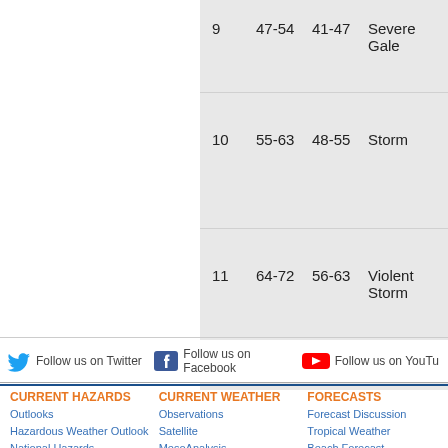|  | mph | knots | Description |
| --- | --- | --- | --- |
| 9 | 47-54 | 41-47 | Severe Gale |
| 10 | 55-63 | 48-55 | Storm |
| 11 | 64-72 | 56-63 | Violent Storm |
| 12 | 72-83 | 64-71 | Hurricane |
Follow us on Twitter
Follow us on Facebook
Follow us on YouTube
CURRENT HAZARDS
Outlooks
Hazardous Weather Outlook
National Hazards
CURRENT WEATHER
Observations
Satellite
MesoAnalysis
FORECASTS
Forecast Discussion
Tropical Weather
Beach Forecast